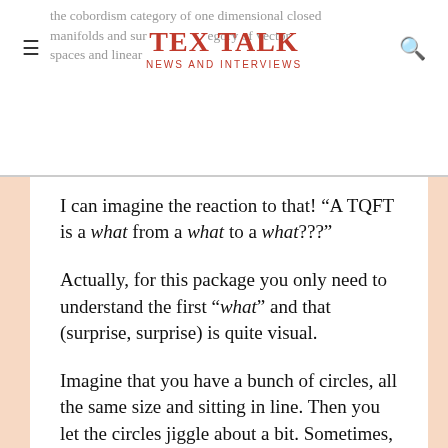TEX TALK | NEWS AND INTERVIEWS
the cobordism category of one dimensional closed manifolds and sur...egory of vector spaces and linear...
I can imagine the reaction to that! “A TQFT is a what from a what to a what???”
Actually, for this package you only need to understand the first “what” and that (surprise, surprise) is quite visual.
Imagine that you have a bunch of circles, all the same size and sitting in line. Then you let the circles jiggle about a bit. Sometimes, two will touch. Then we can merge them at that point into a single circle. Also, a circle might jiggle about so much that it splits in two. So these circles evolve in time, splitting and recombining.